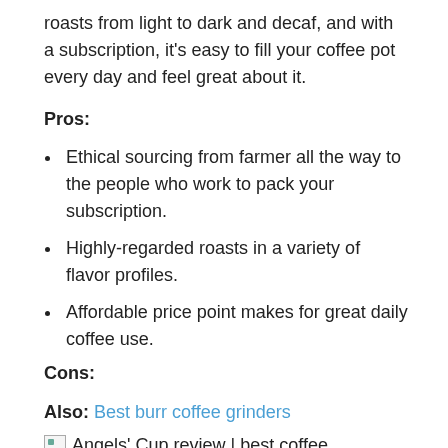roasts from light to dark and decaf, and with a subscription, it's easy to fill your coffee pot every day and feel great about it.
Pros:
Ethical sourcing from farmer all the way to the people who work to pack your subscription.
Highly-regarded roasts in a variety of flavor profiles.
Affordable price point makes for great daily coffee use.
Cons:
Also: Best burr coffee grinders
[Figure (photo): Angels' Cup review | best coffee subscription service - broken image placeholder]
Angels' Cup review | best coffee subscription service